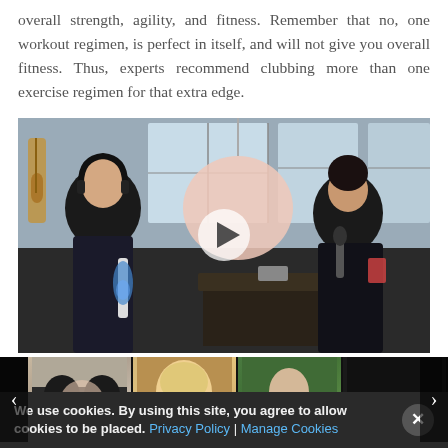overall strength, agility, and fitness. Remember that no, one workout regimen, is perfect in itself, and will not give you overall fitness. Thus, experts recommend clubbing more than one exercise regimen for that extra edge.
[Figure (screenshot): Video player showing two women in an office/studio setting, one wearing headphones holding a lava lamp, another in black seated across, with a large round pendant lamp above a table. A play button overlay is visible in the center.]
[Figure (photo): Thumbnail strip with four images: first shows the podcast scene, second shows a blonde woman smiling, third shows a man in front of green hedge, fourth is a dark/black image. Left and right navigation arrows are visible.]
We use cookies. By using this site, you agree to allow cookies to be placed. Privacy Policy | Manage Cookies